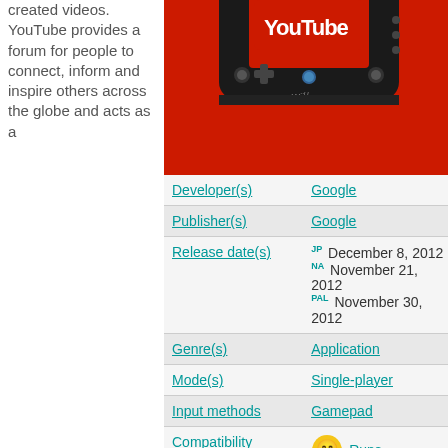created videos. YouTube provides a forum for people to connect, inform and inspire others across the globe and acts as a
[Figure (photo): Wii U GamePad controller showing YouTube app on red background]
| Field | Value |
| --- | --- |
| Developer(s) | Google |
| Publisher(s) | Google |
| Release date(s) | JP December 8, 2012
NA November 21, 2012
PAL November 30, 2012 |
| Genre(s) | Application |
| Mode(s) | Single-player |
| Input methods | Gamepad |
| Compatibility | Runs |